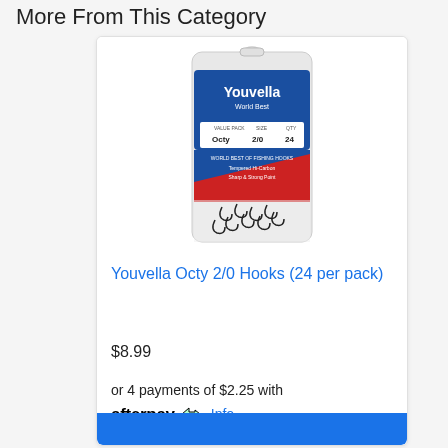More From This Category
[Figure (photo): Youvella Octy 2/0 fishing hooks in a blue blister pack showing 24 hooks. Pack label reads: YOUVELLA World Best, VALUE PACK: Octy, SIZE: 2/0, QTY: 24. Black fishing hooks visible through packaging.]
Youvella Octy 2/0 Hooks (24 per pack)
$8.99
or 4 payments of $2.25 with afterpay Info